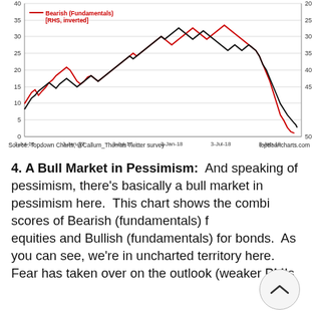[Figure (line-chart): Dual-axis line chart showing Bearish (Fundamentals) [RHS, inverted] in red and a black line (Bullish fundamentals for bonds) from 3-Jul-16 to 3-Jan-19. Left y-axis 0-40, right y-axis 20-50 (inverted). Both lines trend upward then decline sharply at the end.]
Source: Topdown Charts, @Callum_Thomas Twitter survey    topdoancharts.com
4. A Bull Market in Pessimism:  And speaking of pessimism, there's basically a bull market in pessimism here.  This chart shows the combined scores of Bearish (fundamentals) for equities and Bullish (fundamentals) for bonds.  As you can see, we're in uncharted territory here.  Fear has taken over on the outlook (weaker PMIs